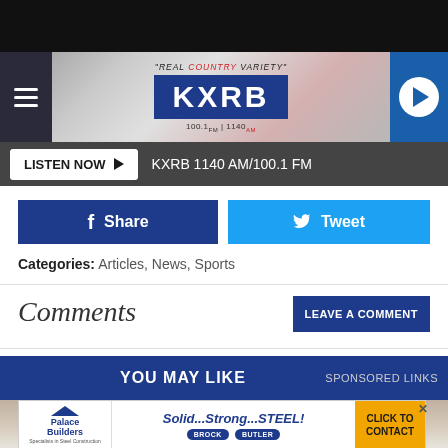[Figure (screenshot): KXRB radio station website header with logo saying 'REAL COUNTRY VARIETY' KXRB 100.1 FM | 1140 AM, hamburger menu on left, play button on right]
LISTEN NOW ▶  KXRB 1140 AM/100.1 FM
f Share
Tweet
Categories: Articles, News, Sports
Comments
LEAVE A COMMENT
YOU MAY LIKE  SPONSORED LINKS
[Figure (photo): Interior room photo strip]
[Figure (photo): Palace Builders advertisement: Solid...Strong...STEEL! with Brock and Butler brand logos, Click to Contact button]